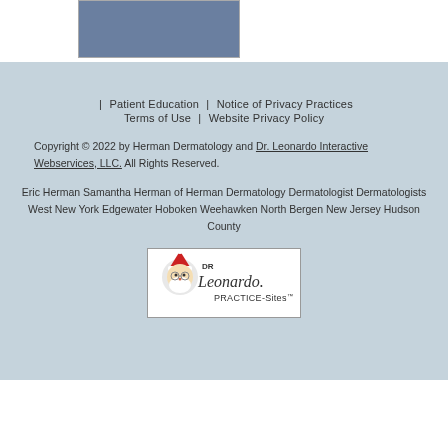[Figure (photo): Partial photo of a person, cropped at top of page]
| Patient Education | Notice of Privacy Practices Terms of Use | Website Privacy Policy
Copyright © 2022 by Herman Dermatology and Dr. Leonardo Interactive Webservices, LLC. All Rights Reserved.
Eric Herman Samantha Herman of Herman Dermatology Dermatologist Dermatologists West New York Edgewater Hoboken Weehawken North Bergen New Jersey Hudson County
[Figure (logo): Dr. Leonardo PRACTICE-Sites logo with cartoon Santa Claus figure]